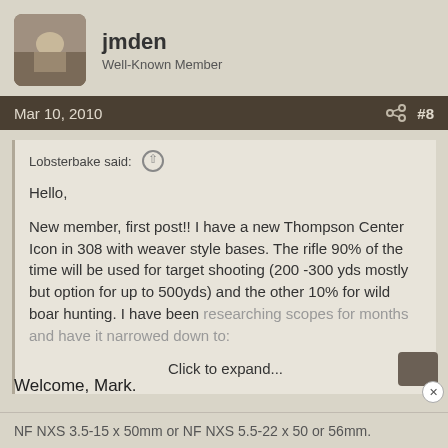jmden
Well-Known Member
Mar 10, 2010  #8
Lobsterbake said:
Hello,

New member, first post!! I have a new Thompson Center Icon in 308 with weaver style bases. The rifle 90% of the time will be used for target shooting (200 -300 yds mostly but option for up to 500yds) and the other 10% for wild boar hunting. I have been researching scopes for months and have it narrowed down to:
Click to expand...
Welcome, Mark.
NF NXS 3.5-15 x 50mm or NF NXS 5.5-22 x 50 or 56mm.